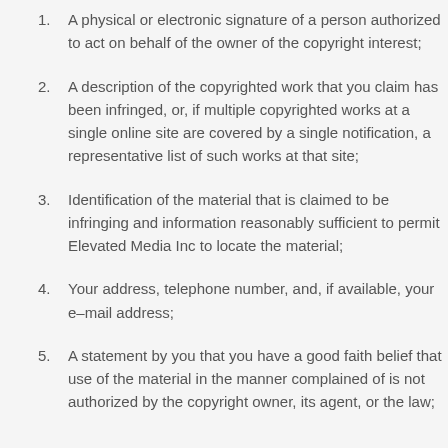A physical or electronic signature of a person authorized to act on behalf of the owner of the copyright interest;
A description of the copyrighted work that you claim has been infringed, or, if multiple copyrighted works at a single online site are covered by a single notification, a representative list of such works at that site;
Identification of the material that is claimed to be infringing and information reasonably sufficient to permit Elevated Media Inc to locate the material;
Your address, telephone number, and, if available, your e–mail address;
A statement by you that you have a good faith belief that use of the material in the manner complained of is not authorized by the copyright owner, its agent, or the law;